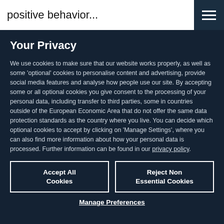positive behavior...
Your Privacy
We use cookies to make sure that our website works properly, as well as some 'optional' cookies to personalise content and advertising, provide social media features and analyse how people use our site. By accepting some or all optional cookies you give consent to the processing of your personal data, including transfer to third parties, some in countries outside of the European Economic Area that do not offer the same data protection standards as the country where you live. You can decide which optional cookies to accept by clicking on 'Manage Settings', where you can also find more information about how your personal data is processed. Further information can be found in our privacy policy.
Accept All Cookies
Reject Non Essential Cookies
Manage Preferences